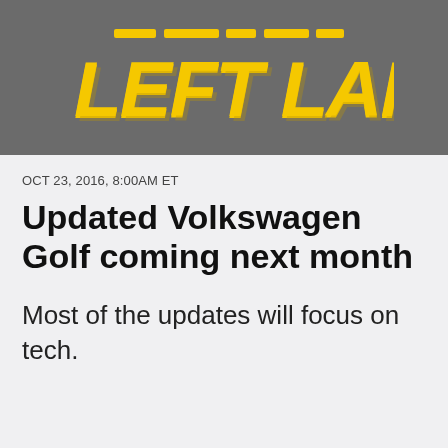[Figure (logo): Left Lane news logo — bold yellow italic block letters 'LEFT LANE' on dark gray background]
OCT 23, 2016, 8:00AM ET
Updated Volkswagen Golf coming next month
Most of the updates will focus on tech.